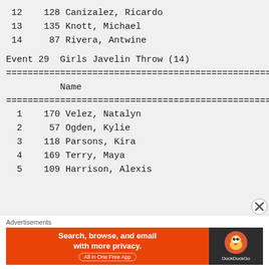12    128 Canizalez, Ricardo
13    135 Knott, Michael
14     87 Rivera, Antwine
Event 29  Girls Javelin Throw (14)
|  | Name | Ye |
| --- | --- | --- |
| 1 | 170 | Velez, Natalyn |
| 2 | 57 | Ogden, Kylie |
| 3 | 118 | Parsons, Kira |
| 4 | 169 | Terry, Maya |
| 5 | 109 | Harrison, Alexis |
Advertisements
[Figure (other): DuckDuckGo advertisement banner: Search, browse, and email with more privacy. All in One Free App.]